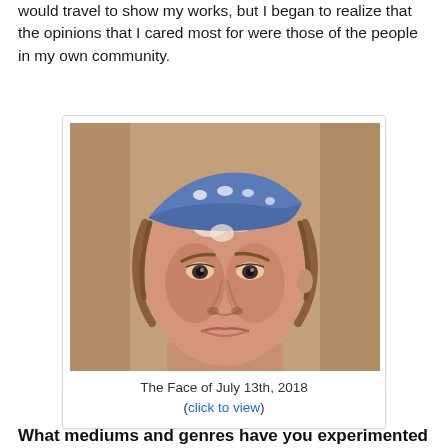would travel to show my works, but I began to realize that the opinions that I cared most for were those of the people in my own community.
[Figure (photo): A painted portrait of a woman with a blue patterned headband, looking forward with a slight smile. The painting has warm earthy tones with painterly brushwork.]
The Face of July 13th, 2018
(click to view)
What mediums and genres have you experimented